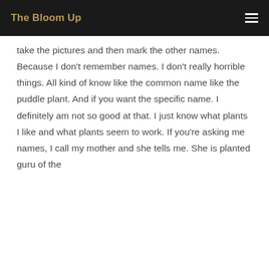The Bloom Up
take the pictures and then mark the other names. Because I don't remember names. I don't really horrible things. All kind of know like the common name like the puddle plant. And if you want the specific name. I definitely am not so good at that. I just know what plants I like and what plants seem to work. If you're asking me names, I call my mother and she tells me. She is planted guru of the